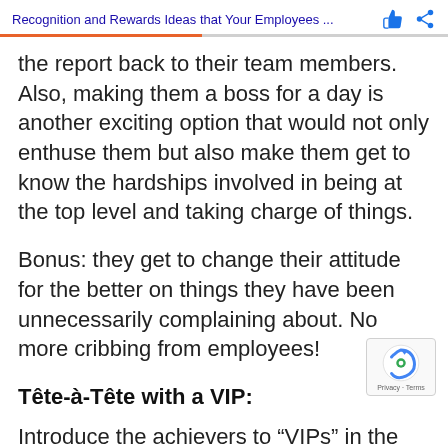Recognition and Rewards Ideas that Your Employees ...
the report back to their team members. Also, making them a boss for a day is another exciting option that would not only enthuse them but also make them get to know the hardships involved in being at the top level and taking charge of things.
Bonus: they get to change their attitude for the better on things they have been unnecessarily complaining about. No more cribbing from employees!
Tête-à-Tête with a VIP:
Introduce the achievers to “VIPs” in the organization (or others as the case may be)